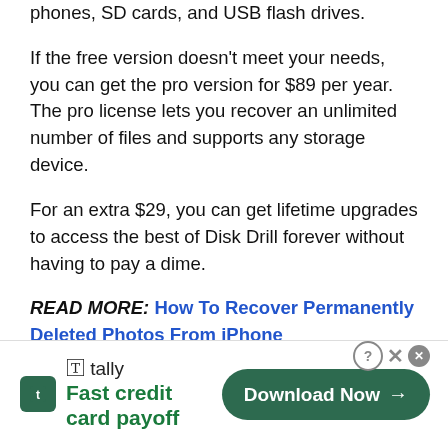phones, SD cards, and USB flash drives.
If the free version doesn't meet your needs, you can get the pro version for $89 per year. The pro license lets you recover an unlimited number of files and supports any storage device.
For an extra $29, you can get lifetime upgrades to access the best of Disk Drill forever without having to pay a dime.
READ MORE: How To Recover Permanently Deleted Photos From iPhone
[Figure (screenshot): Tally app advertisement banner: 'Fast credit card payoff' with a Download Now button]